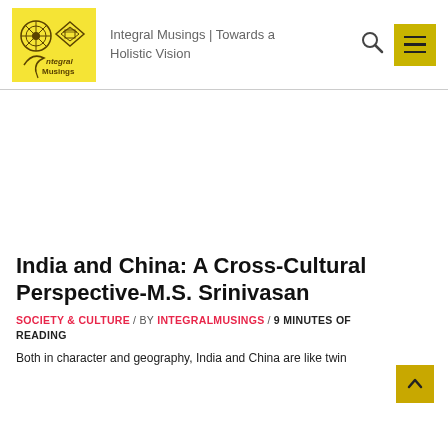Integral Musings | Towards a Holistic Vision
India and China: A Cross-Cultural Perspective-M.S. Srinivasan
SOCIETY & CULTURE / BY INTEGRALMUSINGS / 9 MINUTES OF READING
Both in character and geography, India and China are like twin